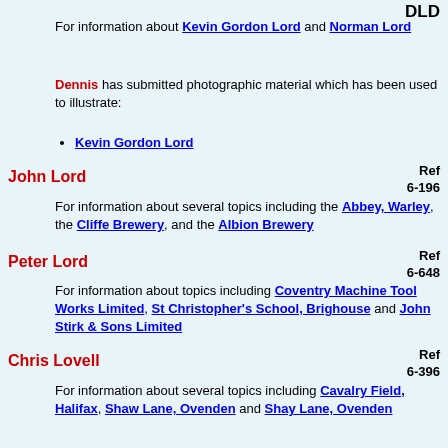DLD
For information about Kevin Gordon Lord and Norman Lord
Dennis has submitted photographic material which has been used to illustrate:
Kevin Gordon Lord
John Lord
Ref
6-196
For information about several topics including the Abbey, Warley, the Cliffe Brewery, and the Albion Brewery
Peter Lord
Ref
6-648
For information about topics including Coventry Machine Tool Works Limited, St Christopher's School, Brighouse and John Stirk & Sons Limited
Chris Lovell
Ref
6-396
For information about several topics including Cavalry Field, Halifax, Shaw Lane, Ovenden and Shay Lane, Ovenden